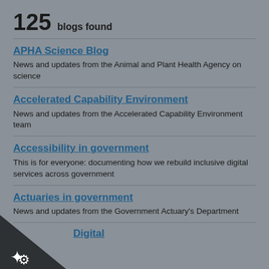125 blogs found
APHA Science Blog
News and updates from the Animal and Plant Health Agency on science
Accelerated Capability Environment
News and updates from the Accelerated Capability Environment team
Accessibility in government
This is for everyone: documenting how we rebuild inclusive digital services across government
Actuaries in government
News and updates from the Government Actuary's Department
Digital